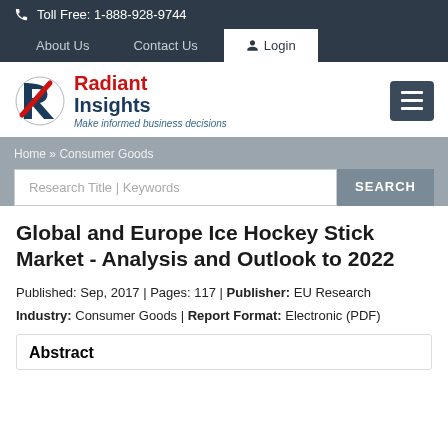Toll Free: 1-888-928-9744
About Us   Contact Us   Login
[Figure (logo): Radiant Insights logo with red and navy R icon and tagline 'Make informed business decisions']
Home » Consumer Goods
Research Title | Keywords   SEARCH
Global and Europe Ice Hockey Stick Market - Analysis and Outlook to 2022
Published: Sep, 2017 | Pages: 117 | Publisher: EU Research Industry: Consumer Goods | Report Format: Electronic (PDF)
Abstract